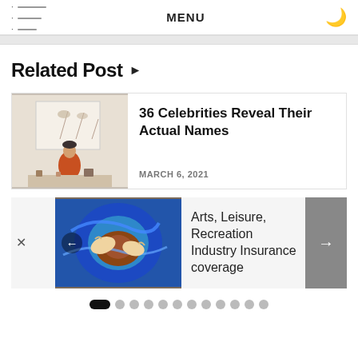MENU
Related Post ▶
[Figure (photo): Photo of a decorative figurine in an orange outfit in front of a botanical wall art piece, on a cluttered table]
36 Celebrities Reveal Their Actual Names
MARCH 6, 2021
[Figure (photo): Aerial view of hands shaping clay on a colorful pottery wheel with blue and brown swirls]
Arts, Leisure, Recreation Industry Insurance coverage